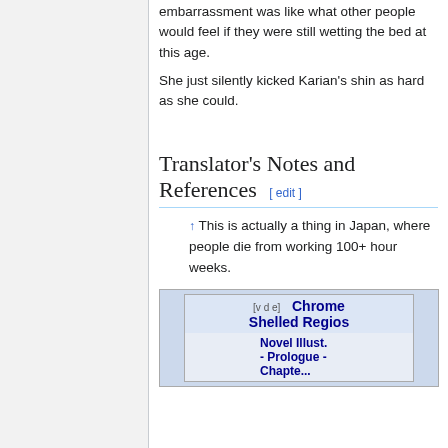embarrassment was like what other people would feel if they were still wetting the bed at this age.
She just silently kicked Karian's shin as hard as she could.
Translator's Notes and References [ edit ]
↑ This is actually a thing in Japan, where people die from working 100+ hour weeks.
| [v d e] | Chrome Shelled Regios |
|  | Novel Illust. - Prologue - |